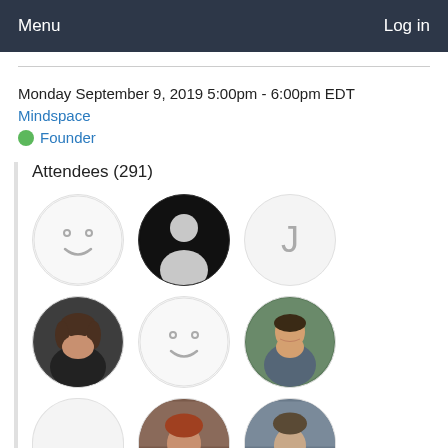Menu   Log in
Monday September 9, 2019 5:00pm - 6:00pm EDT
Mindspace
Founder
Attendees (291)
[Figure (photo): Grid of attendee profile photos and avatar icons showing 6 visible attendees plus partial row of 3 more]